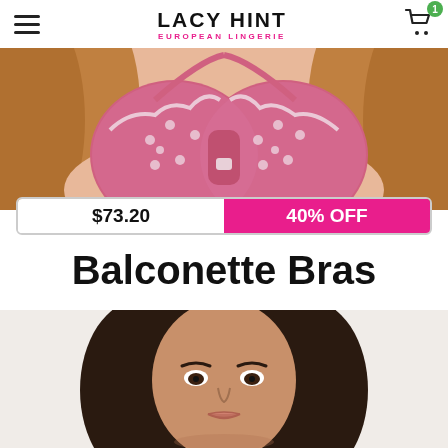LACY HINT EUROPEAN LINGERIE
[Figure (photo): Cropped photo of a woman wearing a pink lace balconette bra with floral and dot embroidery details]
$73.20   40% OFF
Balconette Bras
[Figure (photo): Portrait photo of a dark-haired woman's face, cropped from a lingerie product page]